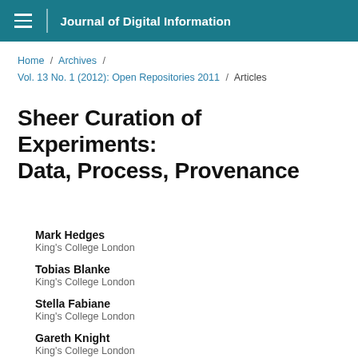Journal of Digital Information
Home / Archives / Vol. 13 No. 1 (2012): Open Repositories 2011 / Articles
Sheer Curation of Experiments: Data, Process, Provenance
Mark Hedges
King's College London
Tobias Blanke
King's College London
Stella Fabiane
King's College London
Gareth Knight
King's College London